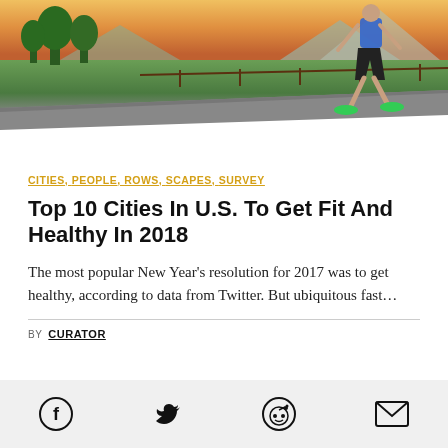[Figure (photo): Runner jogging on a road at sunset with mountains and green fields in background, wearing blue shorts and green shoes]
CITIES, PEOPLE, ROWS, SCAPES, SURVEY
Top 10 Cities In U.S. To Get Fit And Healthy In 2018
The most popular New Year’s resolution for 2017 was to get healthy, according to data from Twitter. But ubiquitous fast…
BY CURATOR
[Figure (infographic): Social sharing icons: Facebook, Twitter, Reddit, Email]